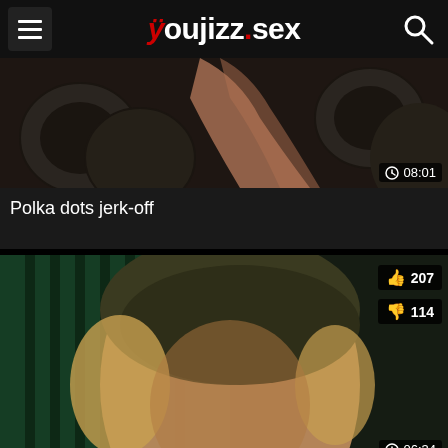youjizz.sex
[Figure (screenshot): Video thumbnail for 'Polka dots jerk-off' showing a person with duration badge 08:01]
Polka dots jerk-off
[Figure (screenshot): Video thumbnail showing a young man wearing a beanie hat with like count 207 and dislike count 114, duration 06:34]